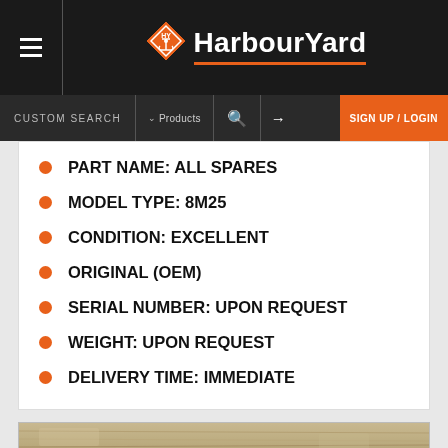HarbourYard — CUSTOM SEARCH | Products | SIGN UP / LOGIN
PART NAME: ALL SPARES
MODEL TYPE: 8M25
CONDITION: EXCELLENT
ORIGINAL (OEM)
SERIAL NUMBER: UPON REQUEST
WEIGHT: UPON REQUEST
DELIVERY TIME: IMMEDIATE
[Figure (photo): Partial view of a weathered wood or metal surface, light brownish-tan color with visible grain/texture lines running horizontally.]